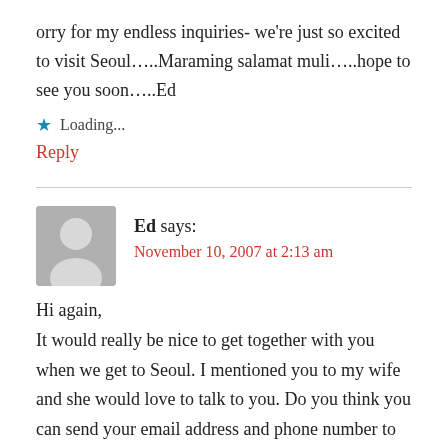orry for my endless inquiries- we're just so excited to visit Seoul…..Maraming salamat muli…..hope to see you soon…..Ed
★ Loading...
Reply
Ed says:
November 10, 2007 at 2:13 am
Hi again,
It would really be nice to get together with you when we get to Seoul. I mentioned you to my wife and she would love to talk to you. Do you think you can send your email address and phone number to our email address which